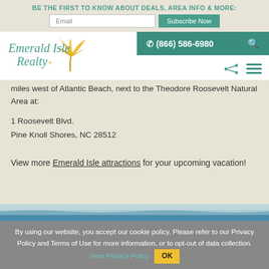BE THE FIRST TO KNOW ABOUT DEALS, AREA INFO & MORE:
[Figure (logo): Emerald Isle Realty logo with palm tree graphic in yellow/gold and teal cursive text]
(866) 586-6980
miles west of Atlantic Beach, next to the Theodore Roosevelt Natural Area at:
1 Roosevelt Blvd.
Pine Knoll Shores, NC 28512
View more Emerald Isle attractions for your upcoming vacation!
By using our website, you accept our cookie policy. Please refer to our Privacy Policy and Terms of Use for more information, or to opt-out of data collection. View Privacy Policy OK